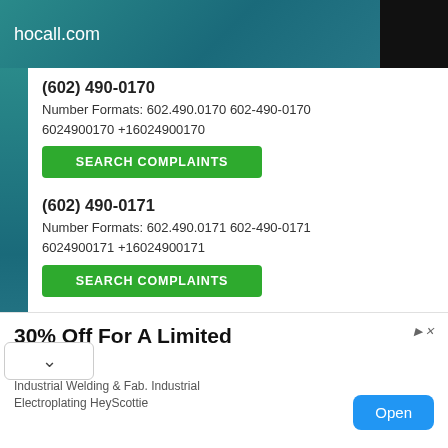hocall.com
(602) 490-0170
Number Formats: 602.490.0170 602-490-0170 6024900170 +16024900170
SEARCH COMPLAINTS
(602) 490-0171
Number Formats: 602.490.0171 602-490-0171 6024900171 +16024900171
SEARCH COMPLAINTS
(602) 490-0172
Number Formats: 602.490.0172 602-490-0172
30% Off For A Limited Time
Industrial Welding & Fab. Industrial Electroplating HeyScottie